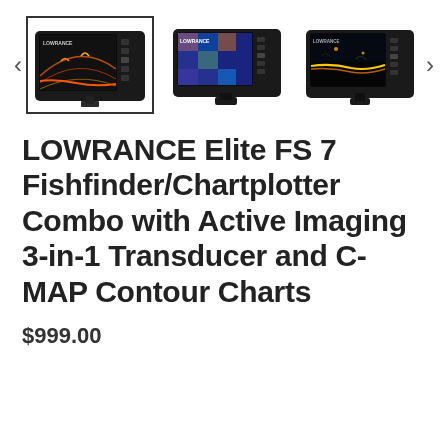[Figure (photo): Three thumbnail images of the Lowrance Elite FS 7 fishfinder/chartplotter device from different angles. The first (selected, with border) shows the device displaying a fishfinder sonar screen. The second shows the device displaying a colorful chartplotter map screen. The third shows the device displaying a sonar/bottom scan screen. Navigation arrows (<, >) appear on either side.]
LOWRANCE Elite FS 7 Fishfinder/Chartplotter Combo with Active Imaging 3-in-1 Transducer and C-MAP Contour Charts
$999.00